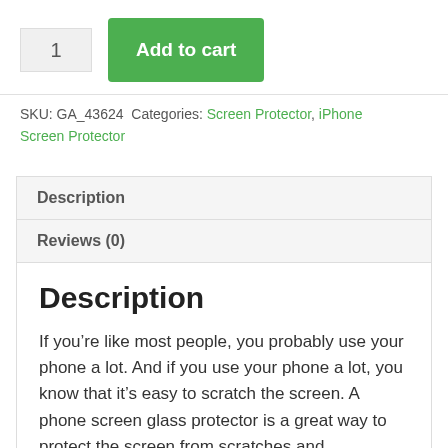1  Add to cart
SKU: GA_43624  Categories: Screen Protector, iPhone Screen Protector
Description
Reviews (0)
Description
If you’re like most people, you probably use your phone a lot. And if you use your phone a lot, you know that it’s easy to scratch the screen. A phone screen glass protector is a great way to protect the screen from scratches and